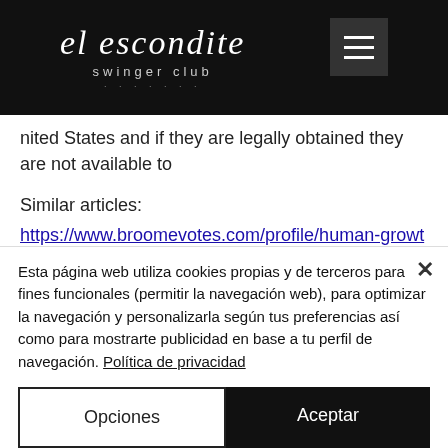[Figure (logo): El Escondite Swinger Club logo on black header bar with hamburger menu icon]
nited States and if they are legally obtained they are not available to
Similar articles:
https://www.broomevotes.com/profile/human-growth-hormone-new-zealand-how-to-7624/profile
https://www.vamosmadrid.net/profile/crazy-bulk-labs-crazy-bulk-order-9965/profile
Esta página web utiliza cookies propias y de terceros para fines funcionales (permitir la navegación web), para optimizar la navegación y personalizarla según tus preferencias así como para mostrarte publicidad en base a tu perfil de navegación. Política de privacidad